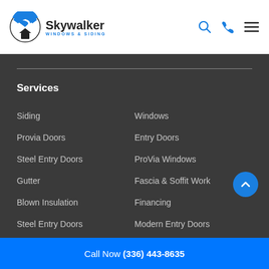[Figure (logo): Skywalker Windows & Siding logo with circular blue/white icon and hamburger menu, search, and phone icons on the right]
Services
Siding
Windows
Provia Doors
Entry Doors
Steel Entry Doors
ProVia Windows
Gutter
Fascia & Soffit Work
Blown Insulation
Financing
Steel Entry Doors
Modern Entry Doors
Call Now (336) 443-8635